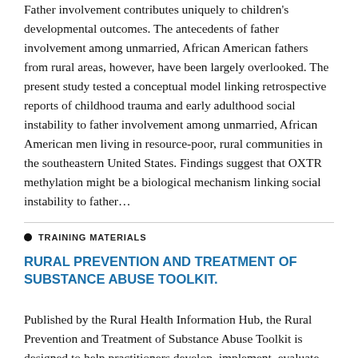Father involvement contributes uniquely to children's developmental outcomes. The antecedents of father involvement among unmarried, African American fathers from rural areas, however, have been largely overlooked. The present study tested a conceptual model linking retrospective reports of childhood trauma and early adulthood social instability to father involvement among unmarried, African American men living in resource-poor, rural communities in the southeastern United States. Findings suggest that OXTR methylation might be a biological mechanism linking social instability to father…
TRAINING MATERIALS
RURAL PREVENTION AND TREATMENT OF SUBSTANCE ABUSE TOOLKIT.
Published by the Rural Health Information Hub, the Rural Prevention and Treatment of Substance Abuse Toolkit is designed to help practitioners develop, implement, evaluate, and sustain rural programs to prevent and treat substanso